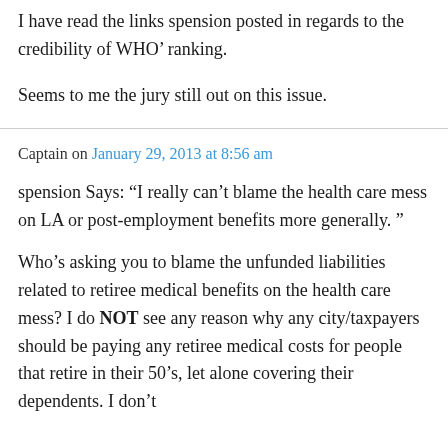I have read the links spension posted in regards to the credibility of WHO’ ranking.
Seems to me the jury still out on this issue.
Captain on January 29, 2013 at 8:56 am
spension Says: “I really can’t blame the health care mess on LA or post-employment benefits more generally. ”
Who’s asking you to blame the unfunded liabilities related to retiree medical benefits on the health care mess? I do NOT see any reason why any city/taxpayers should be paying any retiree medical costs for people that retire in their 50’s, let alone covering their dependents. I don’t